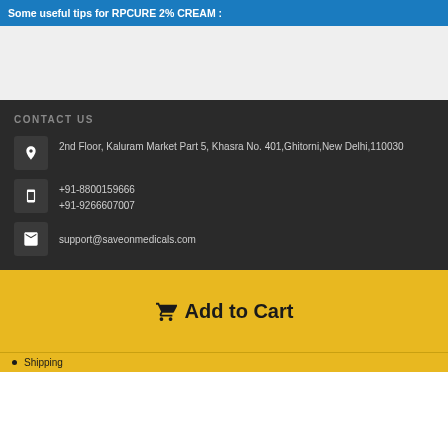Some useful tips for RPCURE 2% CREAM :
CONTACT US
2nd Floor, Kaluram Market Part 5, Khasra No. 401,Ghitorni,New Delhi,110030
+91-8800159666
+91-9266607007
support@saveonmedicals.com
Add to Cart
Shipping